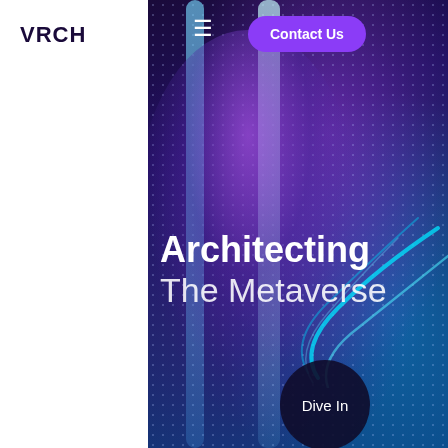VRCH
[Figure (illustration): Hero image of a glowing human figure in a metaverse/VR environment with blue and purple neon lights, vertical light beams, dot grid overlay, and cyan swirling light trails on a dark blue-purple background.]
Architecting The Metaverse
Dive In